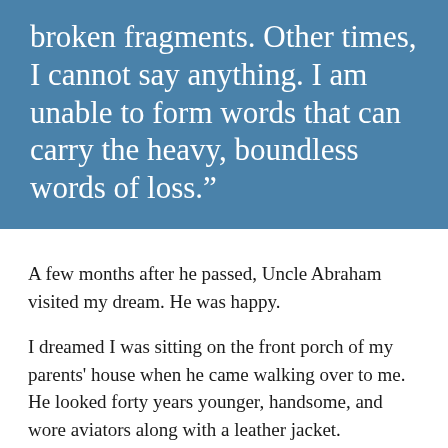broken fragments. Other times, I cannot say anything. I am unable to form words that can carry the heavy, boundless words of loss."
A few months after he passed, Uncle Abraham visited my dream. He was happy.
I dreamed I was sitting on the front porch of my parents' house when he came walking over to me. He looked forty years younger, handsome, and wore aviators along with a leather jacket.